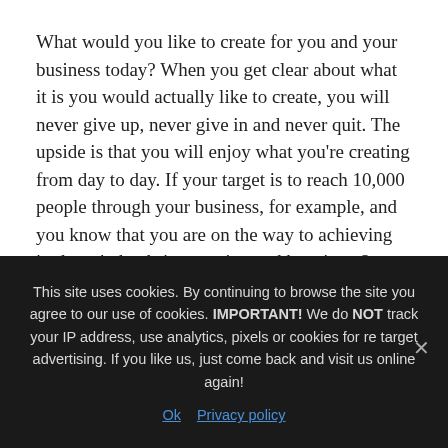What would you like to create for you and your business today? When you get clear about what it is you would actually like to create, you will never give up, never give in and never quit. The upside is that you will enjoy what you're creating from day to day. If your target is to reach 10,000 people through your business, for example, and you know that you are on the way to achieving it, doesn't that bring you joy and happiness? What if you loved what you did today?
When you measure success as achieving certain outcomes or profit, you are actually destroying the
This site uses cookies. By continuing to browse the site you agree to our use of cookies. IMPORTANT! We do NOT track your IP address, use analytics, pixels or cookies for re target advertising. If you like us, just come back and visit us online again!
Ok   Privacy policy